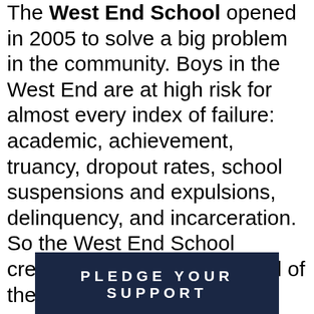The West End School opened in 2005 to solve a big problem in the community. Boys in the West End are at high risk for almost every index of failure: academic, achievement, truancy, dropout rates, school suspensions and expulsions, delinquency, and incarceration. So the West End School created a place to address all of these issues.
Through the School's rigorous academic and personal standards, they encourage their students to attain the highest possible level of scholarship, intellectual growth, responsibility and character.
PLEDGE YOUR SUPPORT